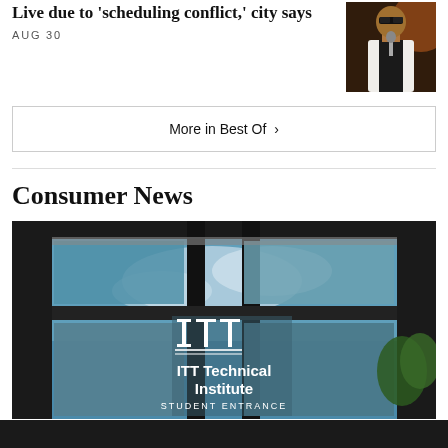Live due to 'scheduling conflict,' city says
AUG 30
[Figure (photo): Man in white suit and sunglasses at a microphone on stage]
More in Best Of ›
Consumer News
[Figure (photo): ITT Technical Institute student entrance sign on a glass building facade with blue sky reflection]